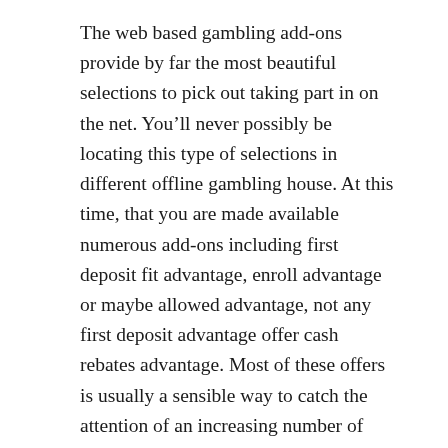The web based gambling add-ons provide by far the most beautiful selections to pick out taking part in on the net. You’ll never possibly be locating this type of selections in different offline gambling house. At this time, that you are made available numerous add-ons including first deposit fit advantage, enroll advantage or maybe allowed advantage, not any first deposit advantage offer cash rebates advantage. Most of these offers is usually a sensible way to catch the attention of an increasing number of completely new people in addition to sustain the prevailing people likewise. Having add-ons, this people can potentially enhance the money since they include considerably more cash in give to help choice.
Far more number of casinos
While using the world-wide-web casinos, you’ll